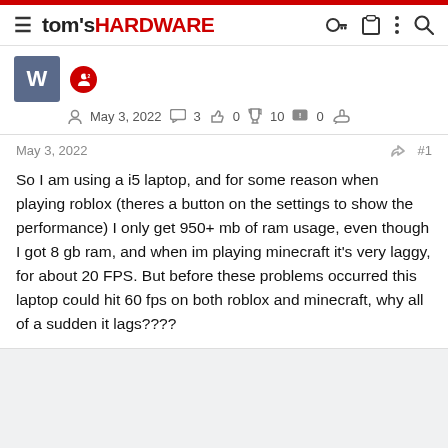tom's HARDWARE
W  May 3, 2022  3  0  10  0
May 3, 2022  #1
So I am using a i5 laptop, and for some reason when playing roblox (theres a button on the settings to show the performance) I only get 950+ mb of ram usage, even though I got 8 gb ram, and when im playing minecraft it's very laggy, for about 20 FPS. But before these problems occurred this laptop could hit 60 fps on both roblox and minecraft, why all of a sudden it lags????